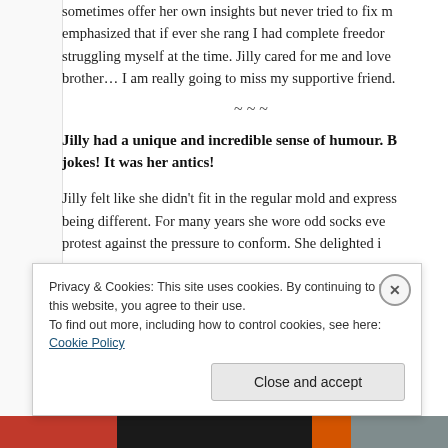sometimes offer her own insights but never tried to fix me… emphasized that if ever she rang I had complete freedom… struggling myself at the time. Jilly cared for me and loved… brother… I am really going to miss my supportive friend.
~~~
Jilly had a unique and incredible sense of humour. B… jokes! It was her antics!
Jilly felt like she didn't fit in the regular mold and express… being different. For many years she wore odd socks eve… protest against the pressure to conform. She delighted i… …
Privacy & Cookies: This site uses cookies. By continuing to use this website, you agree to their use.
To find out more, including how to control cookies, see here: Cookie Policy
Close and accept